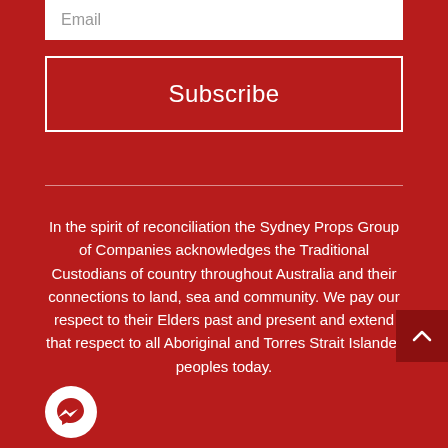Email
Subscribe
In the spirit of reconciliation the Sydney Props Group of Companies acknowledges the Traditional Custodians of country throughout Australia and their connections to land, sea and community. We pay our respect to their Elders past and present and extend that respect to all Aboriginal and Torres Strait Islander peoples today.
[Figure (illustration): Scroll to top button with upward chevron arrow on dark red background]
[Figure (logo): Facebook Messenger chat bubble icon in white on white circle background]